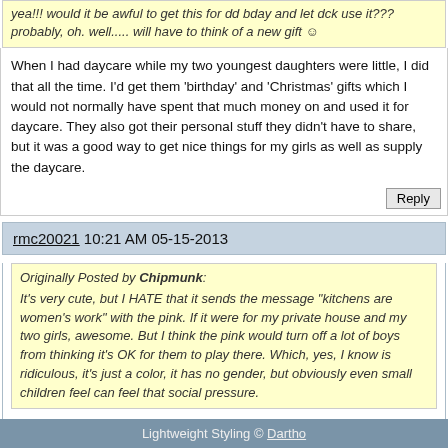yea!!! would it be awful to get this for dd bday and let dck use it??? probably, oh. well..... will have to think of a new gift 🙂
When I had daycare while my two youngest daughters were little, I did that all the time. I'd get them 'birthday' and 'Christmas' gifts which I would not normally have spent that much money on and used it for daycare. They also got their personal stuff they didn't have to share, but it was a good way to get nice things for my girls as well as supply the daycare.
rmc20021 10:21 AM 05-15-2013
Originally Posted by Chipmunk: It's very cute, but I HATE that it sends the message "kitchens are women's work" with the pink. If it were for my private house and my two girls, awesome. But I think the pink would turn off a lot of boys from thinking it's OK for them to play there. Which, yes, I know is ridiculous, it's just a color, it has no gender, but obviously even small children feel can feel that social pressure.
They have this same one in blue...just as cute and the boys wouldn't think it was too girly and the girls would't think much more about it than it's a pretty blue color.
Tags: kidkraft, kitchen, play kitchen
Lightweight Styling © Dartho